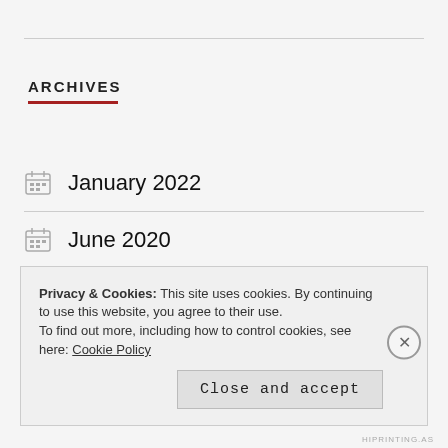ARCHIVES
January 2022
June 2020
May 2020
April 2020
Privacy & Cookies: This site uses cookies. By continuing to use this website, you agree to their use. To find out more, including how to control cookies, see here: Cookie Policy
Close and accept
HIPRINTING.AS